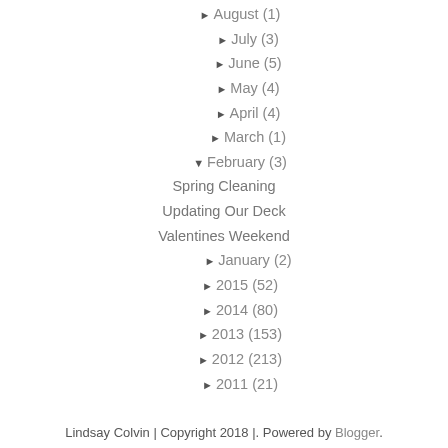► August (1)
► July (3)
► June (5)
► May (4)
► April (4)
► March (1)
▼ February (3)
Spring Cleaning
Updating Our Deck
Valentines Weekend
► January (2)
► 2015 (52)
► 2014 (80)
► 2013 (153)
► 2012 (213)
► 2011 (21)
Lindsay Colvin | Copyright 2018 |. Powered by Blogger.